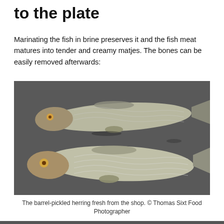to the plate
Marinating the fish in brine preserves it and the fish meat matures into tender and creamy matjes. The bones can be easily removed afterwards:
[Figure (photo): Two whole herring fish (barrel-pickled) laid flat on a dark gray stone or slate surface, viewed from above. The fish are silver-scaled with heads intact, placed one above the other.]
The barrel-pickled herring fresh from the shop. © Thomas Sixt Food Photographer